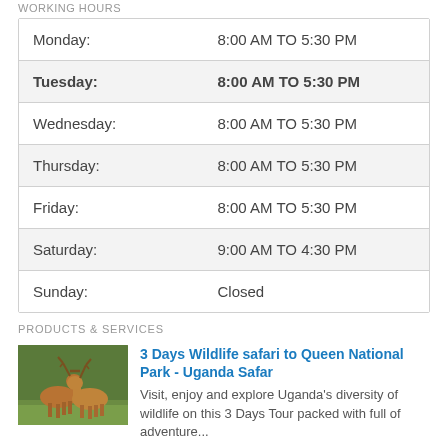WORKING HOURS
| Day | Hours |
| --- | --- |
| Monday: | 8:00 AM TO 5:30 PM |
| Tuesday: | 8:00 AM TO 5:30 PM |
| Wednesday: | 8:00 AM TO 5:30 PM |
| Thursday: | 8:00 AM TO 5:30 PM |
| Friday: | 8:00 AM TO 5:30 PM |
| Saturday: | 9:00 AM TO 4:30 PM |
| Sunday: | Closed |
PRODUCTS & SERVICES
[Figure (photo): Two deer with locked antlers in a grassy field - Uganda wildlife]
3 Days Wildlife safari to Queen National Park - Uganda Safar
Visit, enjoy and explore Uganda's diversity of wildlife on this 3 Days Tour packed with full of adventure...